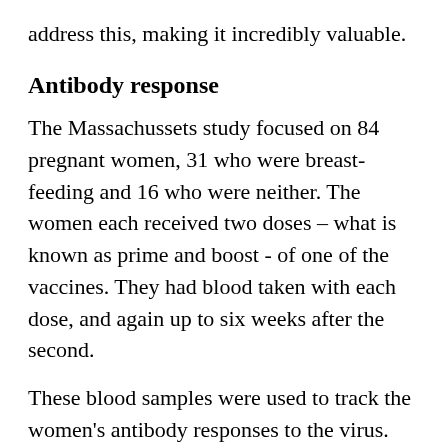address this, making it incredibly valuable.
Antibody response
The Massachussets study focused on 84 pregnant women, 31 who were breast-feeding and 16 who were neither. The women each received two doses – what is known as prime and boost - of one of the vaccines. They had blood taken with each dose, and again up to six weeks after the second.
These blood samples were used to track the women's antibody responses to the virus. The results were conclusive. All the women – both pregnant and breast-feeding – were found to have robust immunity, comparable to that of the non-pregnant women. And, this immunity increased with time, post-vaccination.